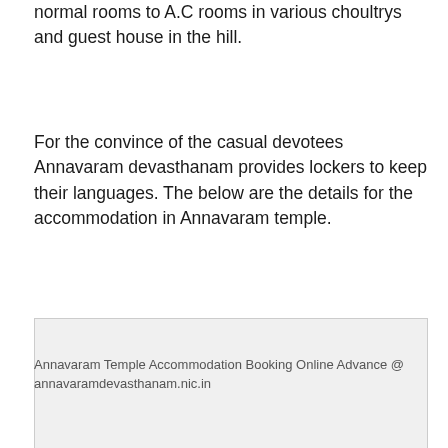normal rooms to A.C rooms in various choultrys and guest house in the hill.
For the convince of the casual devotees Annavaram devasthanam provides lockers to keep their languages. The below are the details for the accommodation in Annavaram temple.
[Figure (other): Image placeholder area for Annavaram Temple accommodation booking content]
Annavaram Temple Accommodation Booking Online Advance @ annavaramdevasthanam.nic.in